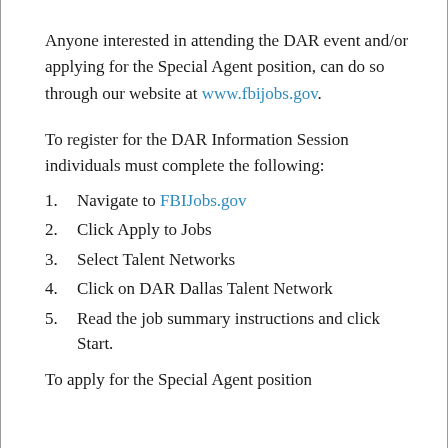Anyone interested in attending the DAR event and/or applying for the Special Agent position, can do so through our website at www.fbijobs.gov.
To register for the DAR Information Session individuals must complete the following:
1. Navigate to FBIJobs.gov
2. Click Apply to Jobs
3. Select Talent Networks
4. Click on DAR Dallas Talent Network
5. Read the job summary instructions and click Start.
To apply for the Special Agent position